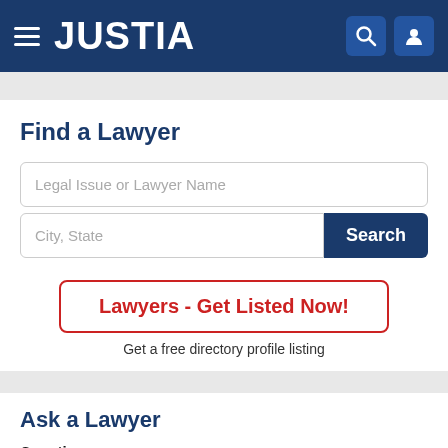JUSTIA
Find a Lawyer
Legal Issue or Lawyer Name
City, State
Search
Lawyers - Get Listed Now!
Get a free directory profile listing
Ask a Lawyer
Question:
Please ask your question here and get free answers from